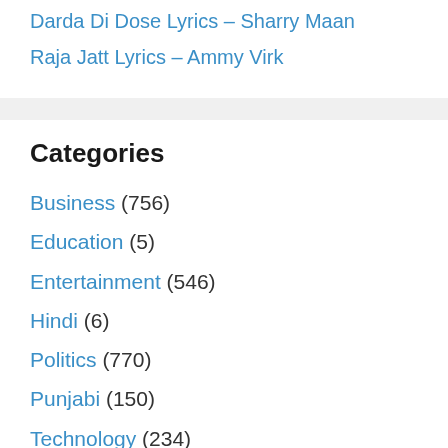Darda Di Dose Lyrics – Sharry Maan
Raja Jatt Lyrics – Ammy Virk
Categories
Business (756)
Education (5)
Entertainment (546)
Hindi (6)
Politics (770)
Punjabi (150)
Technology (234)
Uncategorized (3)